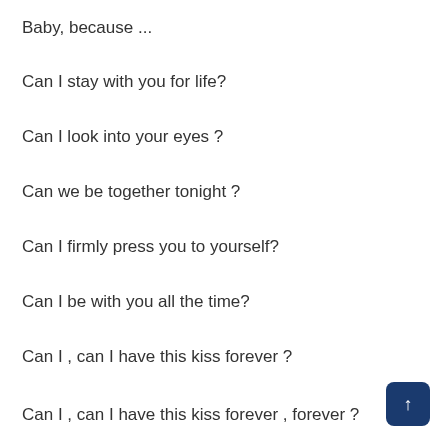Baby, because ...
Can I stay with you for life?
Can I look into your eyes ?
Can we be together tonight ?
Can I firmly press you to yourself?
Can I be with you all the time?
Can I , can I have this kiss forever ?
Can I , can I have this kiss forever , forever ?